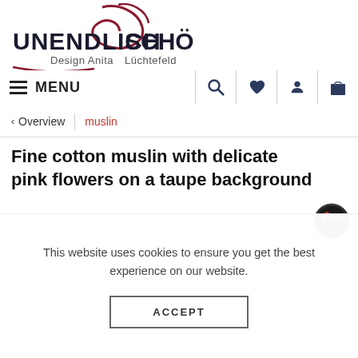[Figure (logo): Unendlich Schön logo with cursive red decoration, text 'UNENDLICH SCHÖN® Design Anita Lüchtefeld']
MENU (navigation bar with hamburger icon, search, heart, user, and bag icons)
Overview | muslin
Fine cotton muslin with delicate pink flowers on a taupe background
[Figure (logo): Poppy Fabrics circular badge logo]
This website uses cookies to ensure you get the best experience on our website.
ACCEPT